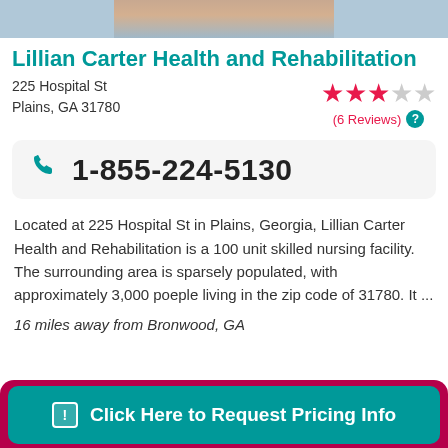[Figure (photo): Partial photo of people, cropped at top of page]
Lillian Carter Health and Rehabilitation
225 Hospital St
Plains, GA 31780
[Figure (other): Star rating: 3 out of 5 stars, (6 Reviews) with teal question mark icon]
1-855-224-5130
Located at 225 Hospital St in Plains, Georgia, Lillian Carter Health and Rehabilitation is a 100 unit skilled nursing facility. The surrounding area is sparsely populated, with approximately 3,000 poeple living in the zip code of 31780. It ...
16 miles away from Bronwood, GA
Click Here to Request Pricing Info